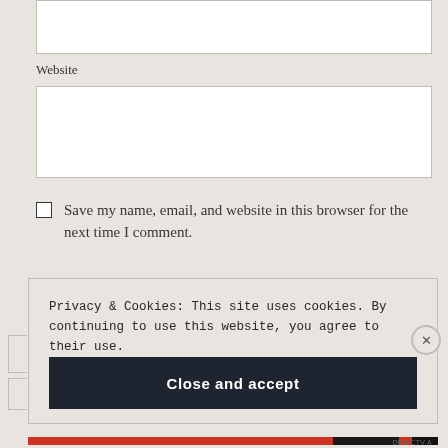Website
Save my name, email, and website in this browser for the next time I comment.
Privacy & Cookies: This site uses cookies. By continuing to use this website, you agree to their use. To find out more, including how to control cookies, see here: Cookie Policy
Close and accept
DIRECTV A